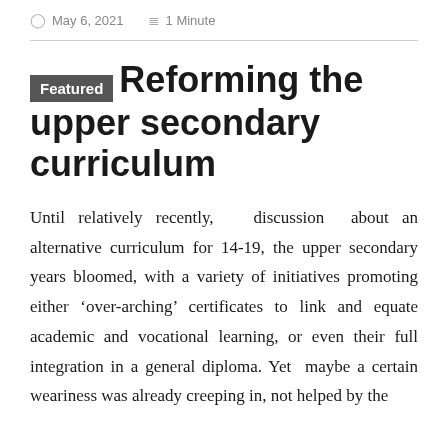May 6, 2021   1 Minute
Featured  Reforming the upper secondary curriculum
Until relatively recently,   discussion  about an alternative curriculum for 14-19, the upper secondary years bloomed, with a variety of initiatives promoting either ‘over-arching’ certificates to link and equate academic and vocational learning, or even their full integration in a general diploma. Yet  maybe a certain weariness was already creeping in, not helped by the